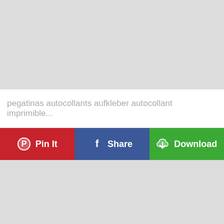[Figure (other): Gray placeholder image area (top)]
pegatinas autocollants aufkleber autocollant imprimible...
[Figure (infographic): Three action buttons: Pin It (red, Pinterest icon), Share (blue, Facebook icon), Download (green, download/cloud icon)]
[Figure (other): Gray placeholder image area (bottom)]